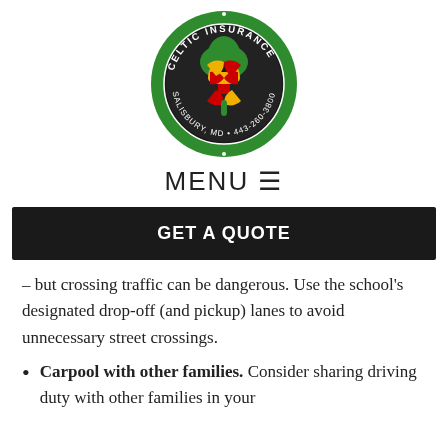[Figure (logo): Celtic Insurance circular logo with shamrock featuring Maryland state flag design, green border with text 'CELTIC INSURANCE · SALISBURY, MD · 443-260-3800']
MENU ☰
GET A QUOTE
– but crossing traffic can be dangerous. Use the school's designated drop-off (and pickup) lanes to avoid unnecessary street crossings.
Carpool with other families. Consider sharing driving duty with other families in your